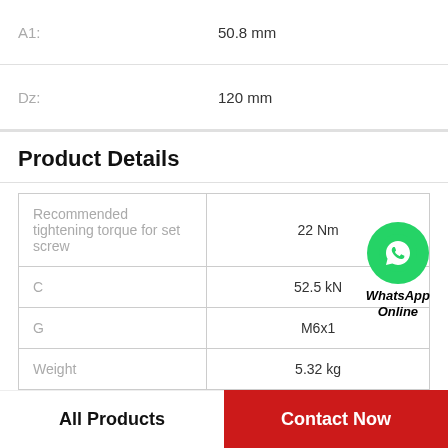| Property | Value |
| --- | --- |
| A1: | 50.8 mm |
| Dz: | 120 mm |
Product Details
| Property | Value |
| --- | --- |
| Recommended tightening torque for set screw | 22 Nm |
| C | 52.5 kN |
| G | M6x1 |
| Weight | 5.32 kg |
[Figure (logo): WhatsApp Online green circle logo with phone icon and text 'WhatsApp Online']
All Products   Contact Now